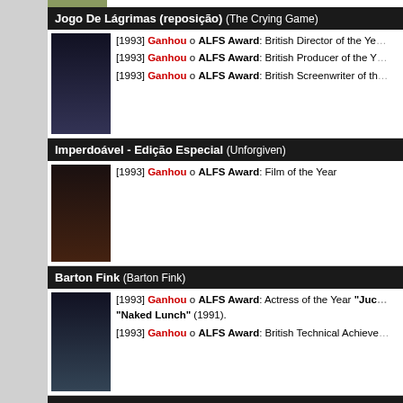Jogo De Lágrimas (reposição) (The Crying Game)
[1993] Ganhou o ALFS Award: British Director of the Year
[1993] Ganhou o ALFS Award: British Producer of the Year
[1993] Ganhou o ALFS Award: British Screenwriter of the Year
Imperdoável - Edição Especial (Unforgiven)
[1993] Ganhou o ALFS Award: Film of the Year
Barton Fink (Barton Fink)
[1993] Ganhou o ALFS Award: Actress of the Year "Ju... "Naked Lunch" (1991).
[1993] Ganhou o ALFS Award: British Technical Achievement
O Festim Nú (Naked Lunch)
[1993] Ganhou o ALFS Award: Actress of the Year "Ju... and Wives" (1992).
Voltar ao topo ▲